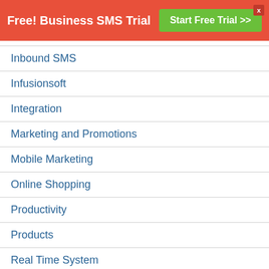Free! Business SMS Trial  Start Free Trial >>
Inbound SMS
Infusionsoft
Integration
Marketing and Promotions
Mobile Marketing
Online Shopping
Productivity
Products
Real Time System